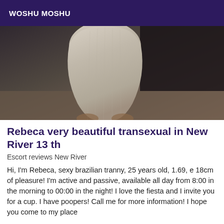WOSHU MOSHU
[Figure (photo): Close-up photo of a person wearing a tight grey/beige knit or bandage-style dress, showing torso and lower body from behind, taken indoors.]
Rebeca very beautiful transexual in New River 13 th
Escort reviews New River
Hi, I'm Rebeca, sexy brazilian tranny, 25 years old, 1.69, e 18cm of pleasure! I'm active and passive, available all day from 8:00 in the morning to 00:00 in the night! I love the fiesta and I invite you for a cup. I have poopers! Call me for more information! I hope you come to my place